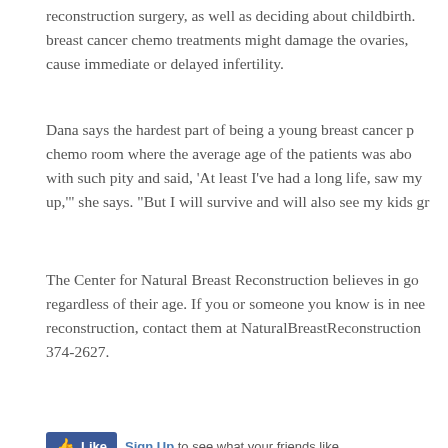reconstruction surgery, as well as deciding about childbirth. breast cancer chemo treatments might damage the ovaries, cause immediate or delayed infertility.
Dana says the hardest part of being a young breast cancer p... chemo room where the average age of the patients was abo... with such pity and said, 'At least I've had a long life, saw my up,'' she says. "But I will survive and will also see my kids gr...
The Center for Natural Breast Reconstruction believes in go... regardless of their age. If you or someone you know is in nee... reconstruction, contact them at NaturalBreastReconstruction... 374-2627.
[Figure (other): Facebook Like widget with Sign Up link: 'Sign Up to see what your friends like.']
Filed Under: Breast Cancer Awareness, Health and Wellness
Seeing Friends and Family for the First Time Since...
December 10, 2018 by Gail